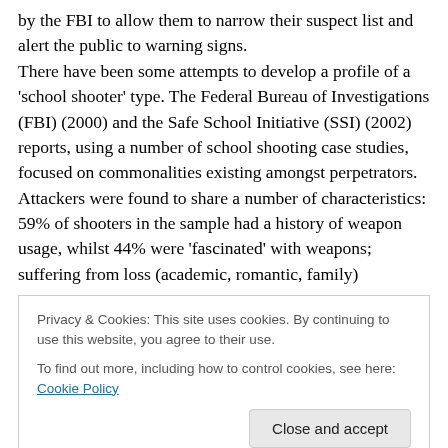by the FBI to allow them to narrow their suspect list and alert the public to warning signs. There have been some attempts to develop a profile of a 'school shooter' type. The Federal Bureau of Investigations (FBI) (2000) and the Safe School Initiative (SSI) (2002) reports, using a number of school shooting case studies, focused on commonalities existing amongst perpetrators. Attackers were found to share a number of characteristics: 59% of shooters in the sample had a history of weapon usage, whilst 44% were 'fascinated' with weapons; suffering from loss (academic, romantic, family)
Privacy & Cookies: This site uses cookies. By continuing to use this website, you agree to their use. To find out more, including how to control cookies, see here: Cookie Policy
compiled list: alienation; cruelty to animals; disliking